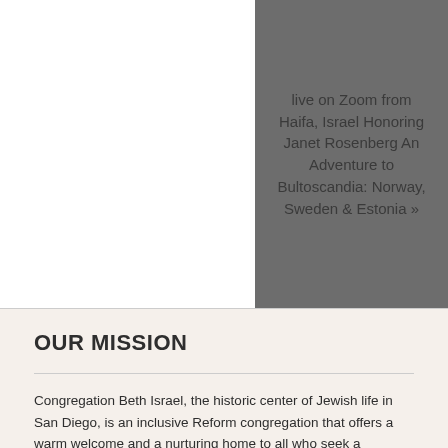live on Zoom from Haifa, Israel Honoring Janet Rosenberg An Adventure to Bultoscandia: Norway, Sweden & Estonia »
OUR MISSION
Congregation Beth Israel, the historic center of Jewish life in San Diego, is an inclusive Reform congregation that offers a warm welcome and a nurturing home to all who seek a meaningful and enduring connection to